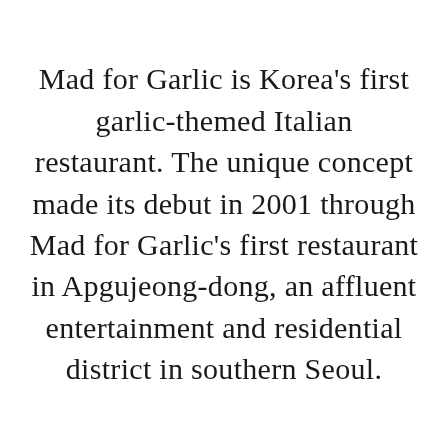Mad for Garlic is Korea's first garlic-themed Italian restaurant. The unique concept made its debut in 2001 through Mad for Garlic's first restaurant in Apgujeong-dong, an affluent entertainment and residential district in southern Seoul.